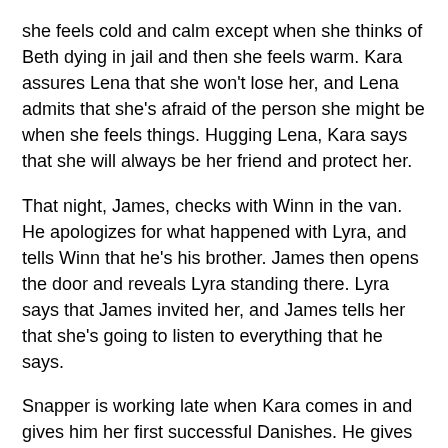she feels cold and calm except when she thinks of Beth dying in jail and then she feels warm. Kara assures Lena that she won't lose her, and Lena admits that she's afraid of the person she might be when she feels things. Hugging Lena, Kara says that she will always be her friend and protect her.
That night, James, checks with Winn in the van. He apologizes for what happened with Lyra, and tells Winn that he's his brother. James then opens the door and reveals Lyra standing there. Lyra says that James invited her, and James tells her that she's going to listen to everything that he says.
Snapper is working late when Kara comes in and gives him her first successful Danishes. He gives her a copy of the article, and Kara thanks him for not dragging Jack through the mud. Snapper shared the byline with her, and says that her interview was instrumental in them getting the scoop. He finally admits that she did good and thanks her, and tells her that she's been rehired because they need more reporters that care about the truth. Smiling, Kara goes to make coffee.